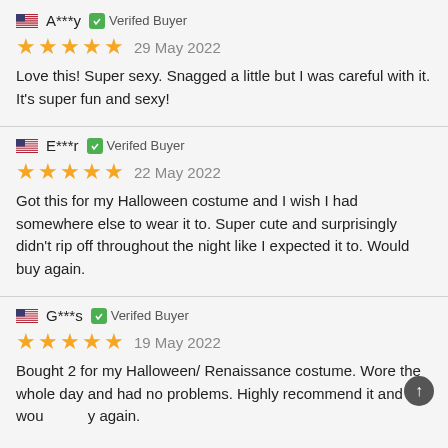A***y  Verifed Buyer
29 May 2022
Love this! Super sexy. Snagged a little but I was careful with it. It's super fun and sexy!
E***r  Verifed Buyer
22 May 2022
Got this for my Halloween costume and I wish I had somewhere else to wear it to. Super cute and surprisingly didn't rip off throughout the night like I expected it to. Would buy again.
G***s  Verifed Buyer
19 May 2022
Bought 2 for my Halloween/ Renaissance costume. Wore the whole day and had no problems. Highly recommend it and would buy again.